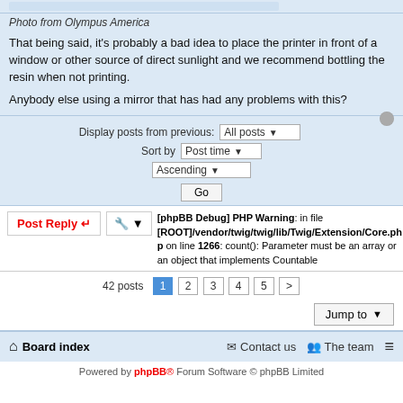Photo from Olympus America
That being said, it's probably a bad idea to place the printer in front of a window or other source of direct sunlight and we recommend bottling the resin when not printing.
Anybody else using a mirror that has had any problems with this?
Display posts from previous: All posts ▼   Sort by Post time ▼   Ascending ▼   Go
[phpBB Debug] PHP Warning: in file [ROOT]/vendor/twig/twig/lib/Twig/Extension/Core.php on line 1266: count(): Parameter must be an array or an object that implements Countable
42 posts  1 2 3 4 5 >
Jump to
Board index   Contact us   The team   Powered by phpBB® Forum Software © phpBB Limited